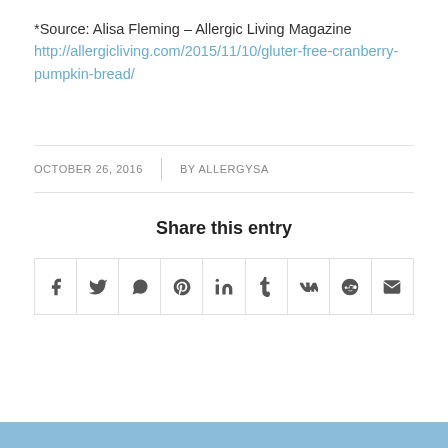*Source: Alisa Fleming – Allergic Living Magazine http://allergicliving.com/2015/11/10/gluten-free-cranberry-pumpkin-bread/
OCTOBER 26, 2016  BY ALLERGYSA
Share this entry
[Figure (other): Social sharing icon buttons: Facebook, Twitter, WhatsApp, Pinterest, LinkedIn, Tumblr, VK, Reddit, Email]